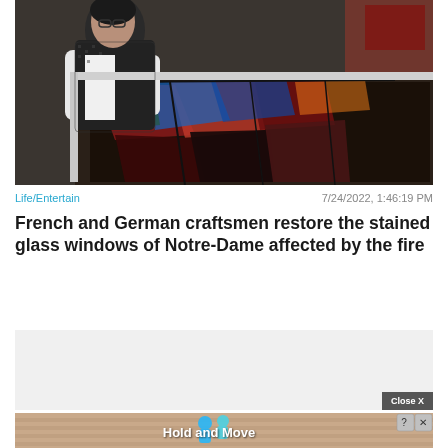[Figure (photo): A person working on restoring a stained glass window, leaning over a colorful panel with red, blue, and dark tones laid out on a table.]
Life/Entertain
7/24/2022, 1:46:19 PM
French and German craftsmen restore the stained glass windows of Notre-Dame affected by the fire
[Figure (screenshot): Advertisement rectangle with light gray background and a 'Close X' button at bottom right.]
[Figure (screenshot): Bottom advertisement banner with sandy/brown gradient background showing two blue cartoon figures and 'Hold and Move' text, with info and close icons at top right.]